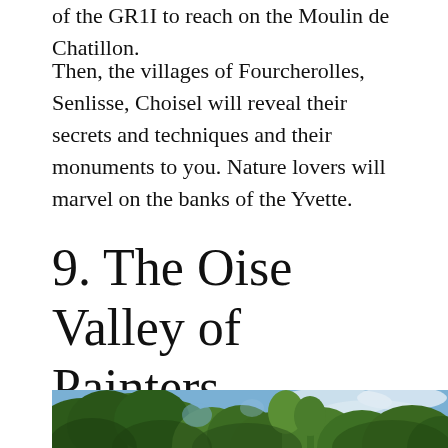of the GR1I to reach on the Moulin de Chatillon.
Then, the villages of Fourcherolles, Senlisse, Choisel will reveal their secrets and techniques and their monuments to you. Nature lovers will marvel on the banks of the Yvette.
9. The Oise Valley of Painters
[Figure (photo): Outdoor nature photograph showing tree canopy with green foliage and blue sky with clouds visible through the branches.]